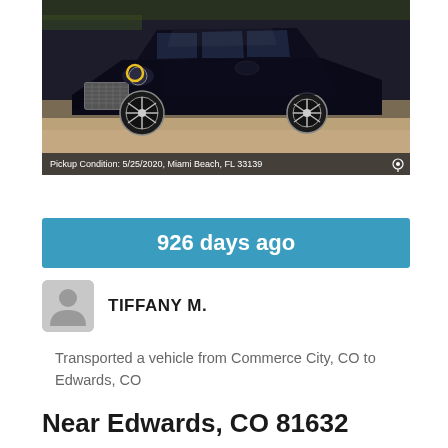[Figure (photo): Dark navy/black Bentley SUV photographed from front-left angle in a parking area. Yellow circle visible on headlight area. Car has chrome grille and multi-spoke wheels.]
Pickup Condition: 5/25/2020, Miami Beach, FL 33139
926 days ago
TIFFANY M.
Transported a vehicle from Commerce City, CO to Edwards, CO
Near Edwards, CO 81632